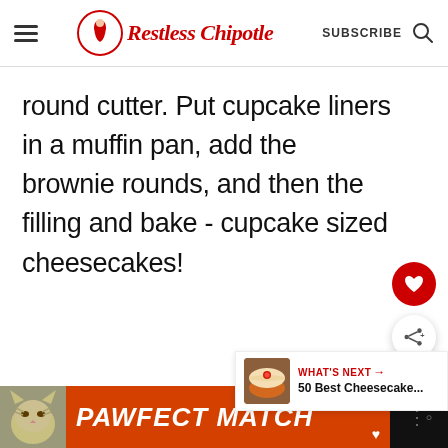Restless Chipotle — SUBSCRIBE
round cutter. Put cupcake liners in a muffin pan, add the brownie rounds, and then the filling and bake - cupcake sized cheesecakes!
[Figure (screenshot): What's Next promotional box: 50 Best Cheesecake...]
[Figure (photo): Advertisement banner: PAWFECT MATCH with cat photo]